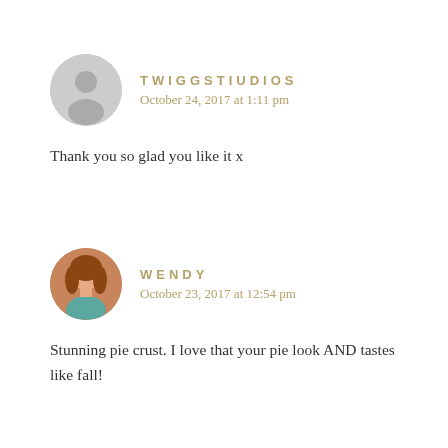[Figure (illustration): Gray circular avatar placeholder for TWIGGSTIUDIOS commenter]
TWIGGSTIUDIOS
October 24, 2017 at 1:11 pm
Thank you so glad you like it x
[Figure (photo): Circular profile photo of Wendy, a woman with curly reddish-brown hair and a teal shirt]
WENDY
October 23, 2017 at 12:54 pm
Stunning pie crust. I love that your pie look AND tastes like fall!